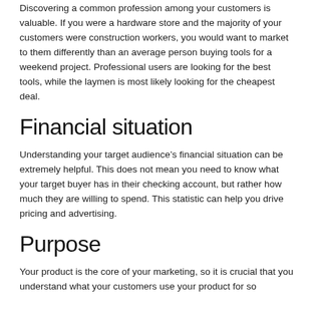Discovering a common profession among your customers is valuable. If you were a hardware store and the majority of your customers were construction workers, you would want to market to them differently than an average person buying tools for a weekend project. Professional users are looking for the best tools, while the laymen is most likely looking for the cheapest deal.
Financial situation
Understanding your target audience’s financial situation can be extremely helpful. This does not mean you need to know what your target buyer has in their checking account, but rather how much they are willing to spend. This statistic can help you drive pricing and advertising.
Purpose
Your product is the core of your marketing, so it is crucial that you understand what your customers use your product for so